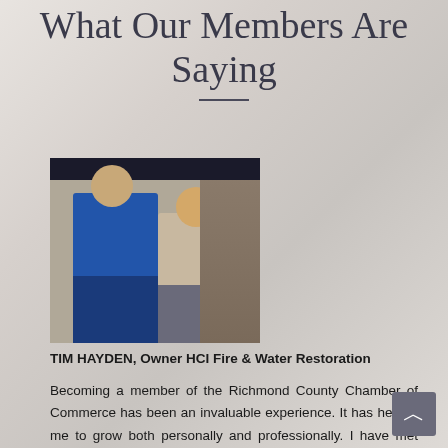What Our Members Are Saying
[Figure (photo): Two people standing in front of display shelves in a store. Man on left wearing blue shirt and glasses, woman on right wearing light gray top.]
TIM HAYDEN, Owner HCI Fire & Water Restoration
Becoming a member of the Richmond County Chamber of Commerce has been an invaluable experience. It has helped me to grow both personally and professionally. I have met many amazing business leaders and business members, learned about their businesses, as well as learning